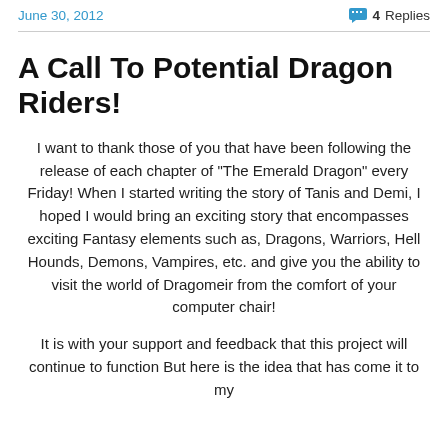June 30, 2012    4 Replies
A Call To Potential Dragon Riders!
I want to thank those of you that have been following the release of each chapter of “The Emerald Dragon” every Friday! When I started writing the story of Tanis and Demi, I hoped I would bring an exciting story that encompasses exciting Fantasy elements such as, Dragons, Warriors, Hell Hounds, Demons, Vampires, etc. and give you the ability to visit the world of Dragomeir from the comfort of your computer chair!
It is with your support and feedback that this project will continue to function But here is the idea that has come it to my mind